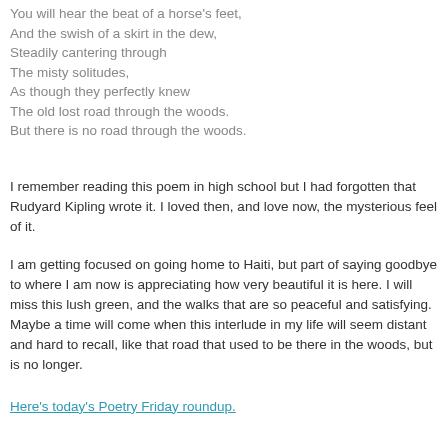You will hear the beat of a horse's feet,
And the swish of a skirt in the dew,
Steadily cantering through
The misty solitudes,
As though they perfectly knew
The old lost road through the woods.
But there is no road through the woods.
I remember reading this poem in high school but I had forgotten that Rudyard Kipling wrote it. I loved then, and love now, the mysterious feel of it.
I am getting focused on going home to Haiti, but part of saying goodbye to where I am now is appreciating how very beautiful it is here. I will miss this lush green, and the walks that are so peaceful and satisfying. Maybe a time will come when this interlude in my life will seem distant and hard to recall, like that road that used to be there in the woods, but is no longer.
Here's today's Poetry Friday roundup.